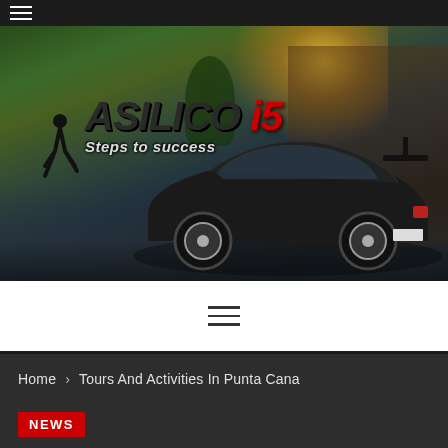≡ (hamburger menu)
[Figure (photo): Hero banner image showing a black sports car (Subaru) in a waterfront setting with sunlight and trees. Overlaid with 'ASILICO i5 - Steps to success' logo featuring a running silhouette figure.]
[Figure (infographic): Hamburger/menu icon (three horizontal lines) centered in white bar]
Home > Tours And Activities In Punta Cana
[Figure (logo): Red NEWS badge/label]